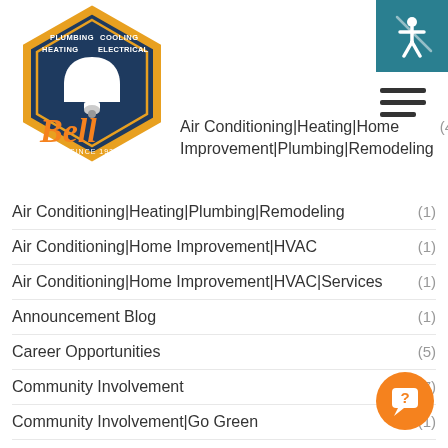[Figure (logo): Bell Plumbing Heating Cooling Electrical logo with bell icon and orange cursive 'Bell' text, hexagon shape, 'Since 1926']
Air Conditioning|Heating|Home Improvement|Plumbing|Remodeling (4)
Air Conditioning|Heating|Plumbing|Remodeling (1)
Air Conditioning|Home Improvement|HVAC (1)
Air Conditioning|Home Improvement|HVAC|Services (1)
Announcement Blog (1)
Career Opportunities (5)
Community Involvement (7)
Community Involvement|Go Green (1)
Community Involvement|Heating|Home Improvement
Community Involvement|Home Improvement (1)